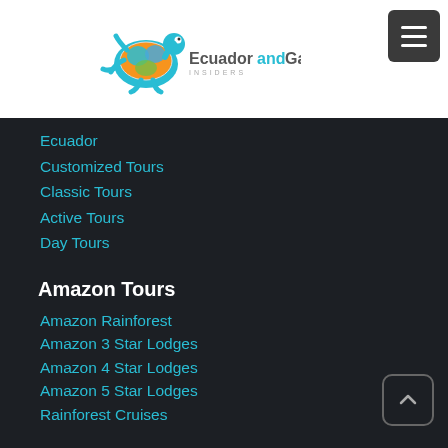[Figure (logo): Ecuador and Galapagos Insiders logo — turtle illustration with 'EcuadorandGalapagos INSIDERS' text]
Ecuador
Customized Tours
Classic Tours
Active Tours
Day Tours
Amazon Tours
Amazon Rainforest
Amazon 3 Star Lodges
Amazon 4 Star Lodges
Amazon 5 Star Lodges
Rainforest Cruises
The Insiders